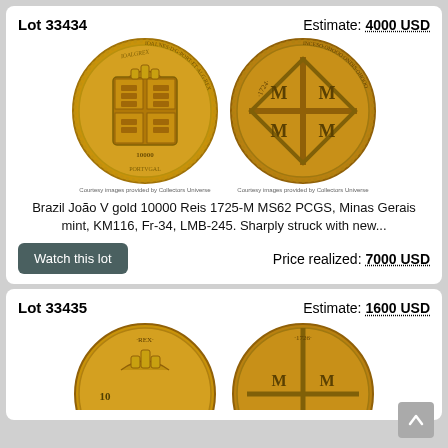Lot 33434
Estimate: 4000 USD
[Figure (photo): Two gold coins: obverse showing Portuguese royal coat of arms with IOANNES legend and 10000 denomination; reverse showing crowned M M M M cross design dated 1724]
Brazil João V gold 10000 Reis 1725-M MS62 PCGS, Minas Gerais mint, KM116, Fr-34, LMB-245. Sharply struck with new...
Watch this lot
Price realized: 7000 USD
Lot 33435
Estimate: 1600 USD
[Figure (photo): Two gold coins partially visible: obverse showing crown and REX legend; reverse showing M M cross design dated 1726]